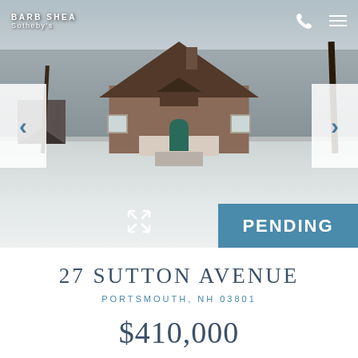[Figure (photo): Winter exterior photo of a Cape Cod style house at 27 Sutton Avenue, Portsmouth NH. The house has brown shingle siding, a steep roof, a teal front door with arched window above, white porch railing, and snow-covered yard. Bare trees visible on the sides. Navigation arrows on left and right sides. Agent name 'BARB SHEA / Sotheby's' displayed in top left. Phone and menu icons in top right. Expand icon and PENDING badge in the bottom portion of the photo.]
27 SUTTON AVENUE
PORTSMOUTH, NH 03801
$410,000